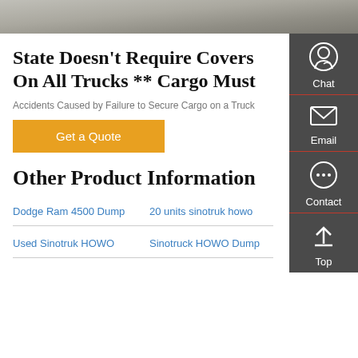[Figure (photo): Top portion of a gray road/pavement photo cropped at the top of the page]
State Doesn't Require Covers On All Trucks ** Cargo Must
Accidents Caused by Failure to Secure Cargo on a Truck
Get a Quote
Other Product Information
Dodge Ram 4500 Dump
20 units sinotruk howo
Used Sinotruk HOWO
Sinotruck HOWO Dump
Chat
Email
Contact
Top